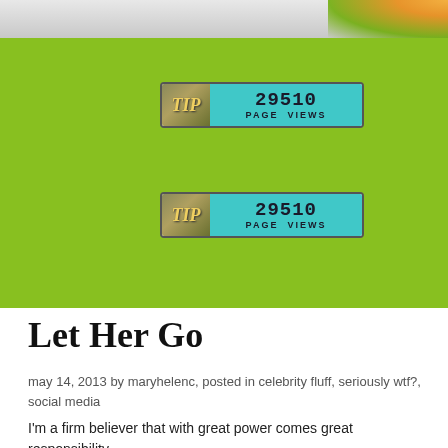[Figure (photo): Top strip showing partial flower/plant image on green and grey background]
[Figure (infographic): Two page-view counter badges showing '29510 PAGE VIEWS' on a green background]
Let Her Go
may 14, 2013 by maryhelenc, posted in celebrity fluff, seriously wtf?, social media
I'm a firm believer that with great power comes great responsibility.
I personally don't believe that celebs get to complain about the paparazzi hounding them, as they use the